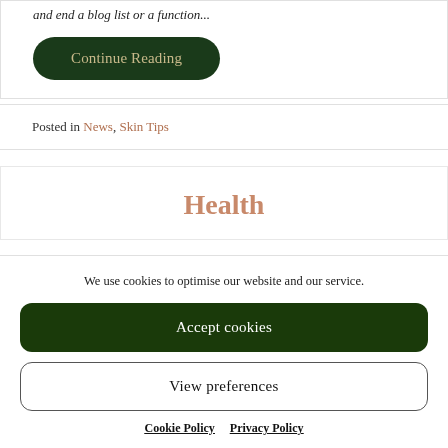and end a blog list or a function...
Continue Reading
Posted in News, Skin Tips
Health
We use cookies to optimise our website and our service.
Accept cookies
View preferences
Cookie Policy   Privacy Policy